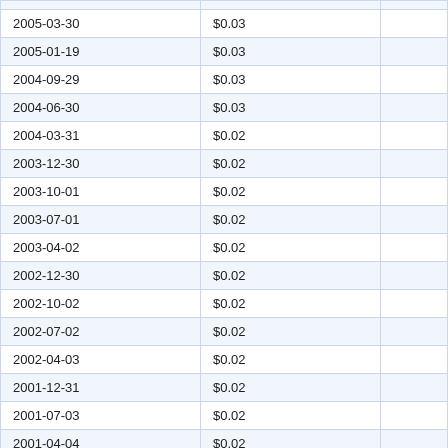| 2005-03-30 | $0.03 |  |
| 2005-01-19 | $0.03 |  |
| 2004-09-29 | $0.03 |  |
| 2004-06-30 | $0.03 |  |
| 2004-03-31 | $0.02 |  |
| 2003-12-30 | $0.02 |  |
| 2003-10-01 | $0.02 |  |
| 2003-07-01 | $0.02 |  |
| 2003-04-02 | $0.02 |  |
| 2002-12-30 | $0.02 |  |
| 2002-10-02 | $0.02 |  |
| 2002-07-02 | $0.02 |  |
| 2002-04-03 | $0.02 |  |
| 2001-12-31 | $0.02 |  |
| 2001-07-03 | $0.02 |  |
| 2001-04-04 | $0.02 |  |
| 2001-01-02 | $0.02 |  |
| 2000-10-04 | $0.02 |  |